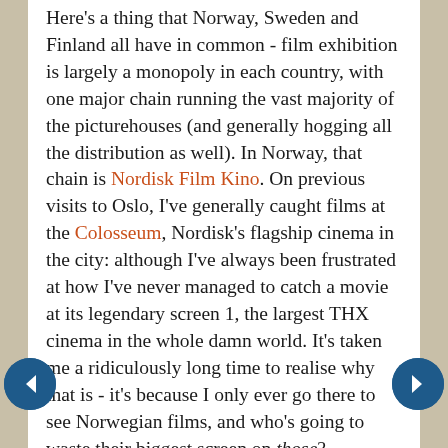Here's a thing that Norway, Sweden and Finland all have in common - film exhibition is largely a monopoly in each country, with one major chain running the vast majority of the picturehouses (and generally hogging all the distribution as well). In Norway, that chain is Nordisk Film Kino. On previous visits to Oslo, I've generally caught films at the Colosseum, Nordisk's flagship cinema in the city: although I've always been frustrated at how I've never managed to catch a movie at its legendary screen 1, the largest THX cinema in the whole damn world. It's taken me a ridiculously long time to realise why that is - it's because I only ever go there to see Norwegian films, and who's going to waste their biggest screen on those? There are other smaller cinemas on the